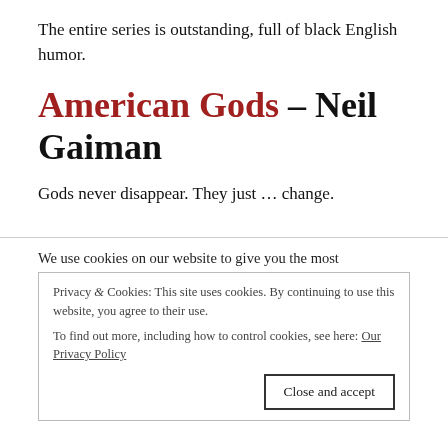The entire series is outstanding, full of black English humor.
American Gods – Neil Gaiman
Gods never disappear. They just … change.
We use cookies on our website to give you the most
Privacy & Cookies: This site uses cookies. By continuing to use this website, you agree to their use.
To find out more, including how to control cookies, see here: Our Privacy Policy
Close and accept